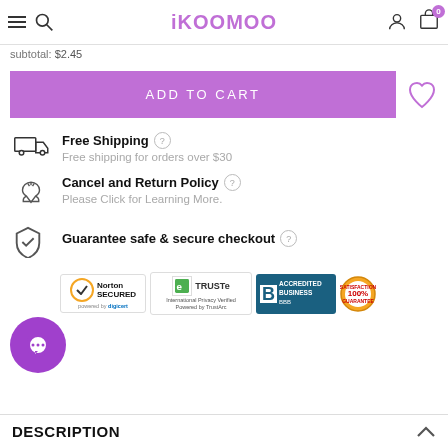iKOOMOO
subtotal: $2.45
ADD TO CART
Free Shipping
Free shipping for orders over $30
Cancel and Return Policy
Please Click for Learning More.
Guarantee safe & secure checkout
[Figure (logo): Norton SECURED powered by digicert, TRUSTe International Privacy Verified Powered by TrustArc, BBB Accredited Business, 100% Satisfaction Guarantee badge]
DESCRIPTION